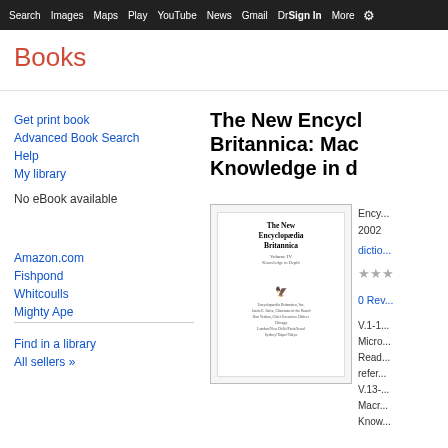Search  Images  Maps  Play  YouTube  News  Gmail  Drive  More  Sign in  ⚙
Books
Get print book
Advanced Book Search
Help
My library
No eBook available
Amazon.com
Fishpond
Whitcoulls
Mighty Ape
Find in a library
All sellers »
The New Encyclop... Britannica: Mac... Knowledge in d...
[Figure (illustration): Book cover of The New Encyclopaedia Britannica]
Ency... 2002
dictio...
★★★
0 Rev...
V.1-1... Micro... Read... refer... V.13-... Macr... Know...